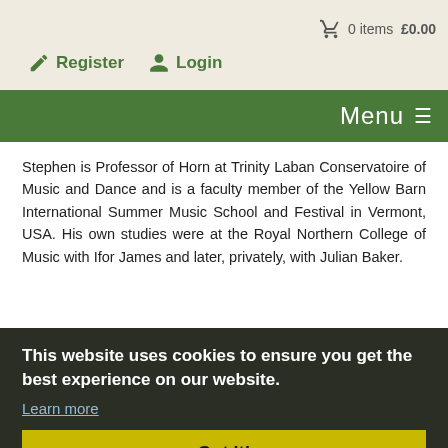0 items £0.00 | Register | Login
Menu ☰
Stephen is Professor of Horn at Trinity Laban Conservatoire of Music and Dance and is a faculty member of the Yellow Barn International Summer Music School and Festival in Vermont, USA. His own studies were at the Royal Northern College of Music with Ifor James and later, privately, with Julian Baker.
This website uses cookies to ensure you get the best experience on our website.
Learn more
Got it!
[Figure (screenshot): Sheet music excerpt visible at bottom of page]